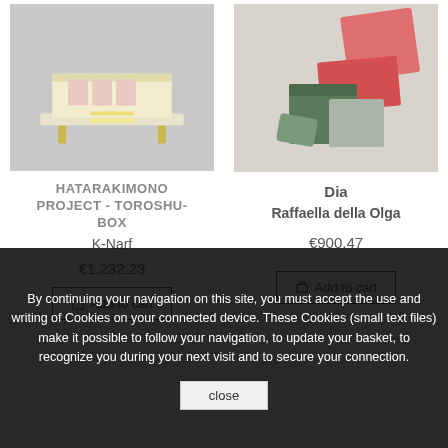[Figure (photo): Photo of HATARAKIMONO PROJECT - TOROSHU-BOX, a white and gold display box with miniature figures inside]
[Figure (photo): Photo of Dia product by Raffaella della Olga, showing green and red geometric block shapes/boxes]
HATARAKIMONO PROJECT - TOROSHU-BOX
K-Narf
€1,232.23
Add to cart
Dia
Raffaella della Olga
€900.47
Add to cart
By continuing your navigation on this site, you must accept the use and writing of Cookies on your connected device. These Cookies (small text files) make it possible to follow your navigation, to update your basket, to recognize you during your next visit and to secure your connection.
close